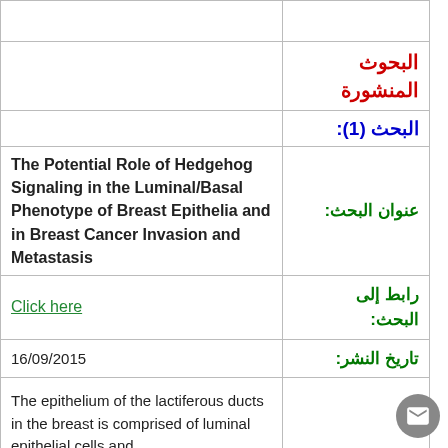| Left | Right |
| --- | --- |
|  |  |
|  | البحوث المنشورة |
|  | البحث (1): |
| The Potential Role of Hedgehog Signaling in the Luminal/Basal Phenotype of Breast Epithelia and in Breast Cancer Invasion and Metastasis | عنوان البحث: |
| Click here | رابط إلى البحث: |
| 16/09/2015 | تاريخ النشر: |
| The epithelium of the lactiferous ducts in the breast is comprised of luminal epithelial cells and |  |